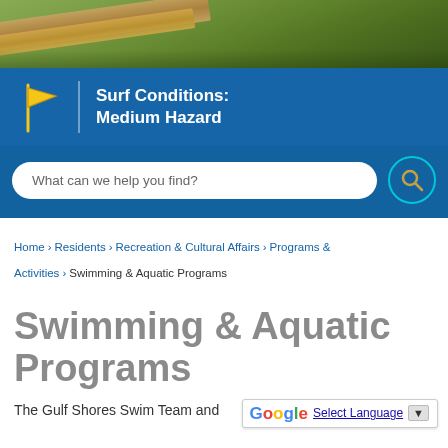[Figure (photo): Outdoor photo showing green grass and wooden planks/boards in the upper portion of the page]
Surf Conditions:
Medium Hazard
What can we help you find?
Home › Residents › Recreation & Cultural Affairs › Programs & Activities › Swimming & Aquatic Programs
Swimming & Aquatic Programs
The Gulf Shores Swim Team and
Select Language